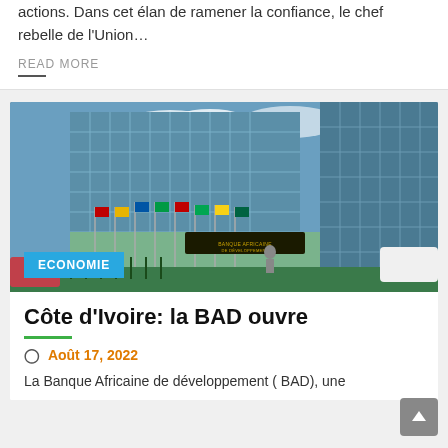actions. Dans cet élan de ramener la confiance, le chef rebelle de l'Union…
READ MORE
[Figure (photo): Photograph of the African Development Bank (BAD) headquarters building with glass facade, multiple national flags in front, and a dark sign reading BANQUE AFRICAINE DE DÉVELOPPEMENT. A blue ECONOMIE category badge is overlaid on the bottom-left of the image.]
Côte d'Ivoire: la BAD ouvre
Août 17, 2022
La Banque Africaine de développement ( BAD), une